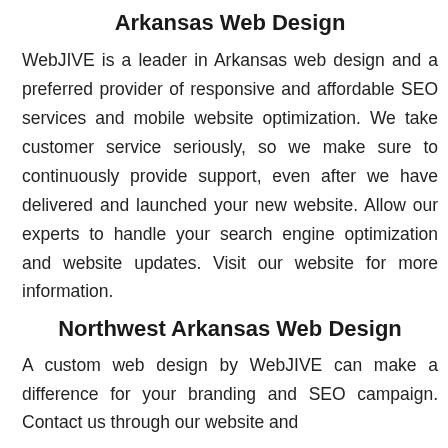Arkansas Web Design
WebJIVE is a leader in Arkansas web design and a preferred provider of responsive and affordable SEO services and mobile website optimization. We take customer service seriously, so we make sure to continuously provide support, even after we have delivered and launched your new website. Allow our experts to handle your search engine optimization and website updates. Visit our website for more information.
Northwest Arkansas Web Design
A custom web design by WebJIVE can make a difference for your branding and SEO campaign. Contact us through our website and